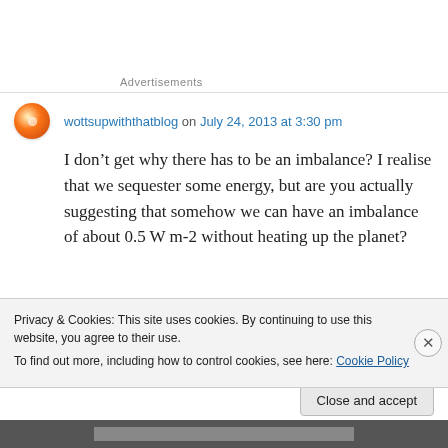Advertisements
wottsupwiththatblog on July 24, 2013 at 3:30 pm
I don’t get why there has to be an imbalance? I realise that we sequester some energy, but are you actually suggesting that somehow we can have an imbalance of about 0.5 W m-2 without heating up the planet?
Privacy & Cookies: This site uses cookies. By continuing to use this website, you agree to their use.
To find out more, including how to control cookies, see here: Cookie Policy
Close and accept